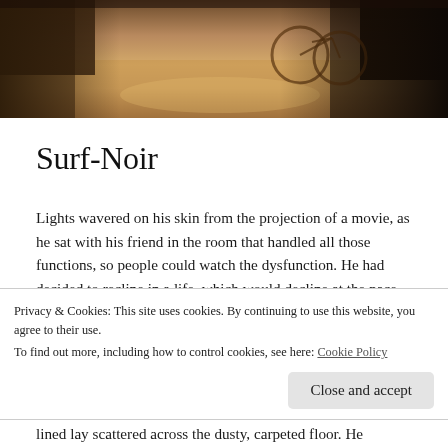[Figure (photo): Sepia-toned photograph showing an outdoor urban scene with a bicycle visible in the background, strong shadows and warm amber/brown tones]
Surf-Noir
Lights wavered on his skin from the projection of a movie, as he sat with his friend in the room that handled all those functions, so people could watch the dysfunction. He had decided to recline in a life, which would decline at the pace of communication between a face and another, drawing the shutter inwards to be fastened into a private space for a sad party.
Privacy & Cookies: This site uses cookies. By continuing to use this website, you agree to their use.
To find out more, including how to control cookies, see here: Cookie Policy
lined lay scattered across the dusty, carpeted floor. He